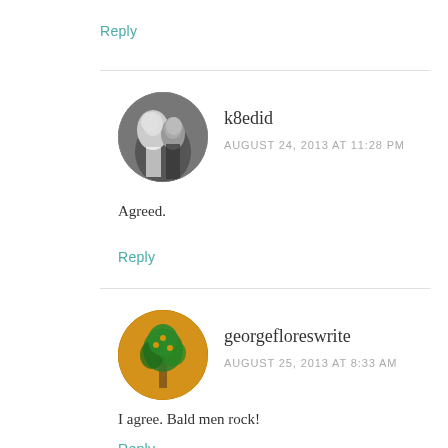Reply
k8edid
AUGUST 24, 2013 AT 11:28 PM
[Figure (photo): Black and white circular avatar photo of two people, a sailor kissing a woman]
Agreed.
Reply
georgefloreswrite
AUGUST 25, 2013 AT 8:33 AM
[Figure (photo): Circular avatar with orange/yellow background showing a stylized tree or plant illustration]
I agree. Bald men rock!
Reply